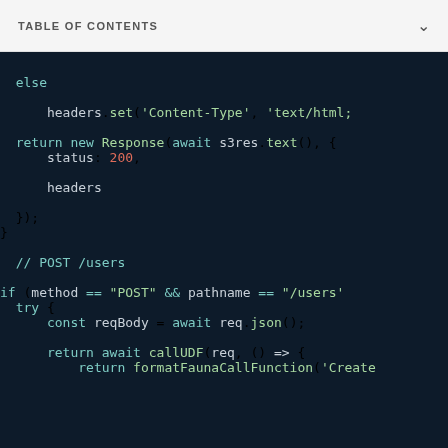TABLE OF CONTENTS
[Figure (screenshot): Dark-themed code editor screenshot showing JavaScript code with syntax highlighting. Code includes: else block with headers.set('Content-Type', 'text/html;), return new Response(await s3res.text(), { status: 200, headers }); closing brace, comment // POST /users, if (method == "POST" && pathname == "/users') block with try { const reqBody = await req.json(); return await callUDF(req, () => { return formatFaunaCallFunction('Create]